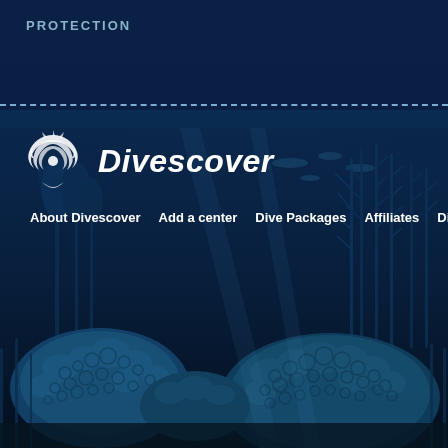[Figure (screenshot): Divescover website screenshot showing underwater coral reef background with dark blue tones, a header bar with PROTECTION label and dashed separator line, the Divescover logo (swirl/wave icon) with italic white text, and a navigation bar with links: About Divescover, Add a center, Dive Packages, Affiliates, Discover!]
PROTECTION
Divescover
About Divescover   Add a center   Dive Packages   Affiliates   Discover!